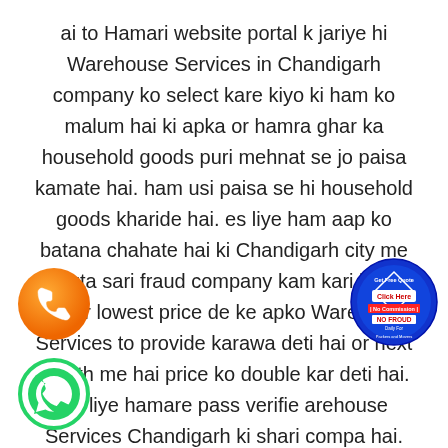ai to Hamari website portal k jariye hi Warehouse Services in Chandigarh company ko select kare kiyo ki ham ko malum hai ki apka or hamra ghar ka household goods puri mehnat se jo paisa kamate hai. ham usi paisa se hi household goods kharide hai. es liye ham aap ko batana chahate hai ki Chandigarh city me bahuta sari fraud company kam kari hai. jo ek bar lowest price de ke apko Warehouse Services to provide karawa deti hai or next month me hai price ko double kar deti hai. Es liye hamare pass verified arehouse Services Chandigarh ki shari compa hai. esliye apko suchat kiya jata hai ki.niche aapke iWarehouse Services Chandigarh ki price list banake ate dete hai. taki aap check karke uske pschhat hi aap Warehouse Services in Chandigarh ki company
[Figure (illustration): Orange circle with white phone/call icon]
[Figure (illustration): Blue circular badge with text: Get Free Quote, Click Here, No Commission, NO FRAUD, Daily For Packers and Movers]
[Figure (illustration): Green WhatsApp circle icon with white phone handset]